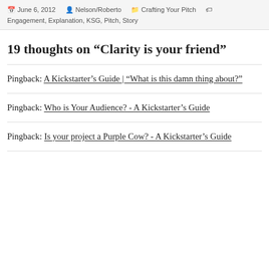June 6, 2012  Nelson/Roberto  Crafting Your Pitch  Engagement, Explanation, KSG, Pitch, Story
19 thoughts on “Clarity is your friend”
Pingback: A Kickstarter's Guide | “What is this damn thing about?”
Pingback: Who is Your Audience? - A Kickstarter's Guide
Pingback: Is your project a Purple Cow? - A Kickstarter's Guide